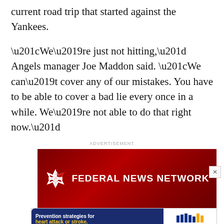current road trip that started against the Yankees.
“We’re just not hitting,” Angels manager Joe Maddon said. “We can’t cover any of our mistakes. You have to be able to cover a bad lie every once in a while. We’re not able to do that right now.”
ADVERTISEMENT
[Figure (logo): Federal News Network advertisement banner with dark red background showing the FNN logo (geometric star/pinwheel shape) and text FEDERAL NEWS NETWORK in white]
[Figure (infographic): MedStar Health advertisement: Prevention strategies for heart attack or stroke. Schedule a consultation. Dark navy background on left with yellow and white text, MedStar Health logo on right with colored bars and text.]